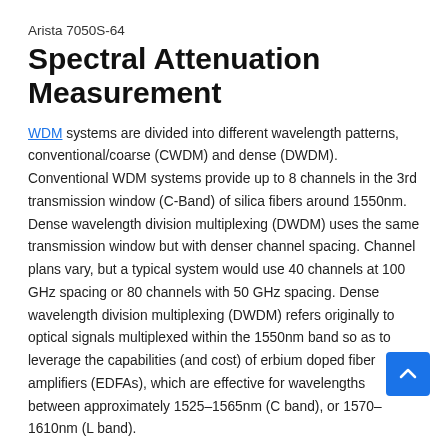Arista 7050S-64
Spectral Attenuation Measurement
WDM systems are divided into different wavelength patterns, conventional/coarse (CWDM) and dense (DWDM). Conventional WDM systems provide up to 8 channels in the 3rd transmission window (C-Band) of silica fibers around 1550nm. Dense wavelength division multiplexing (DWDM) uses the same transmission window but with denser channel spacing. Channel plans vary, but a typical system would use 40 channels at 100 GHz spacing or 80 channels with 50 GHz spacing. Dense wavelength division multiplexing (DWDM) refers originally to optical signals multiplexed within the 1550nm band so as to leverage the capabilities (and cost) of erbium doped fiber amplifiers (EDFAs), which are effective for wavelengths between approximately 1525–1565nm (C band), or 1570–1610nm (L band).
Fiber Optic Patch Cord U.S.A